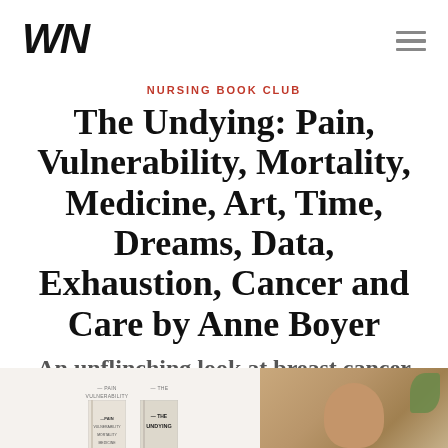WN
NURSING BOOK CLUB
The Undying: Pain, Vulnerability, Mortality, Medicine, Art, Time, Dreams, Data, Exhaustion, Cancer and Care by Anne Boyer
An unflinching look at breast cancer
[Figure (photo): Bottom strip showing book covers on left (beige background) and a partial photo of a person with a green leaf on the right (warm tan background)]